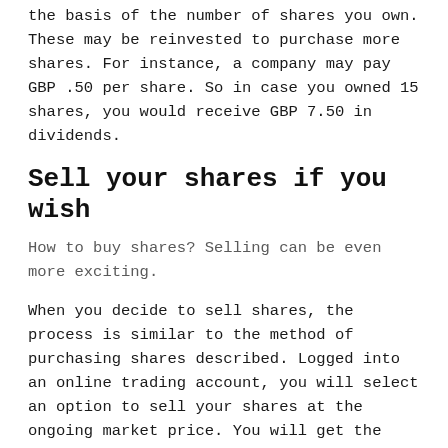the basis of the number of shares you own. These may be reinvested to purchase more shares. For instance, a company may pay GBP .50 per share. So in case you owned 15 shares, you would receive GBP 7.50 in dividends.
Sell your shares if you wish
How to buy shares? Selling can be even more exciting.
When you decide to sell shares, the process is similar to the method of purchasing shares described. Logged into an online trading account, you will select an option to sell your shares at the ongoing market price. You will get the appropriate confirmation that your stock has been sold, and the revenue from the sale will come into your account.